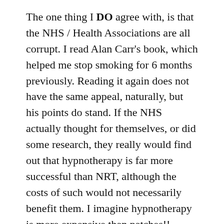The one thing I DO agree with, is that the NHS / Health Associations are all corrupt. I read Alan Carr's book, which helped me stop smoking for 6 months previously. Reading it again does not have the same appeal, naturally, but his points do stand. If the NHS actually thought for themselves, or did some research, they really would find out that hypnotherapy is far more successful than NRT, although the costs of such would not necessarily benefit them. I imagine hypnotherapy is more expensive than patches!!
It does not suprise me that hypnotherapists are very anti-champix, as naturally, it is one-side fighting for revenue against another. Saving